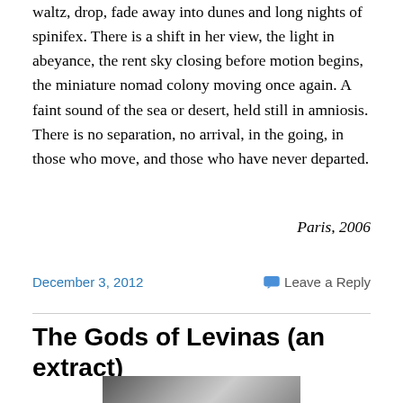waltz, drop, fade away into dunes and long nights of spinifex. There is a shift in her view, the light in abeyance, the rent sky closing before motion begins, the miniature nomad colony moving once again. A faint sound of the sea or desert, held still in amniosis. There is no separation, no arrival, in the going, in those who move, and those who have never departed.
Paris, 2006
December 3, 2012
Leave a Reply
The Gods of Levinas (an extract)
[Figure (photo): Partial view of a black and white photograph, showing what appears to be a person and foliage/branches.]